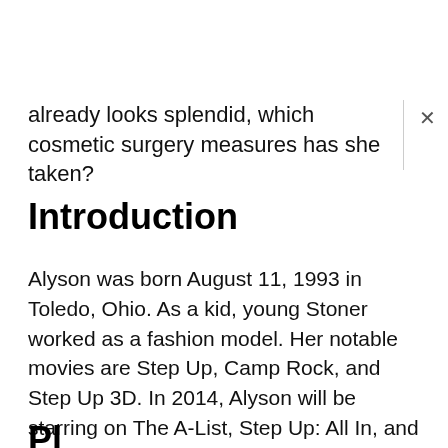already looks splendid, which cosmetic surgery measures has she taken?
Introduction
Alyson was born August 11, 1993 in Toledo, Ohio. As a kid, young Stoner worked as a fashion model. Her notable movies are Step Up, Camp Rock, and Step Up 3D. In 2014, Alyson will be starring on The A-List, Step Up: All In, and Expecting Amish. He rfans also know her voice from series like Lilo & Stitch: The Series, W.I.T.C.H., and Phineas and Ferb. Stoner is also working as an editor for KEWL Magazine.
Pl...